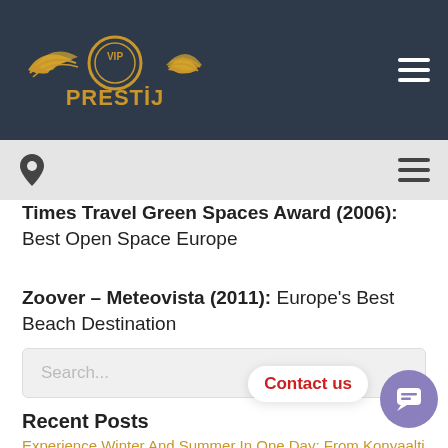VIP PRESTIJ - Navigation Header
Times Travel Green Spaces Award (2006): Best Open Space Europe
Zoover – Meteovista (2011): Europe's Best Beach Destination
Search...
Recent Posts
Experience Winter And Summer In One Day: From Konyaalti To Saklikent